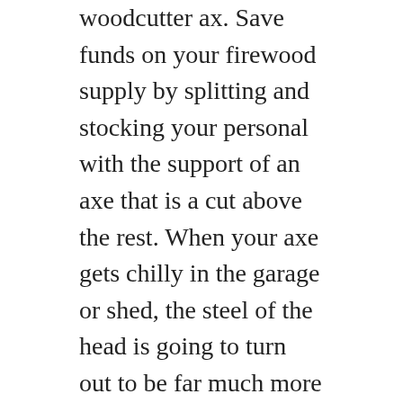woodcutter ax. Save funds on your firewood supply by splitting and stocking your personal with the support of an axe that is a cut above the rest. When your axe gets chilly in the garage or shed, the steel of the head is going to turn out to be far much more susceptible to chipping and breakage. Defensively deployed archers in line utilised the poll of this axe to hammer wooden stakes into the ground and then sharpened the nonetheless exposed upper ends of these stakes by chopping them to points with the blade. Tags: ash, axe manage, conservation, forest management, forestry, henry david thoreau, hickory, hophornbeam, northern woodlands, ross morgan, spokeshave, sugar maple, trees, yellow bir. I attempted to fix this by cutting away the handle on both sides of the wedge so I could drive the wedge deeper (pic 6). Either the glue had already set up, or the wedge was bottomed out in the slot in